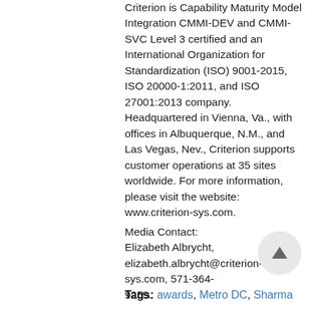Criterion is Capability Maturity Model Integration CMMI-DEV and CMMI-SVC Level 3 certified and an International Organization for Standardization (ISO) 9001-2015, ISO 20000-1:2011, and ISO 27001:2013 company. Headquartered in Vienna, Va., with offices in Albuquerque, N.M., and Las Vegas, Nev., Criterion supports customer operations at 35 sites worldwide. For more information, please visit the website: www.criterion-sys.com.
Media Contact: Elizabeth Albrycht, elizabeth.albrycht@criterion-sys.com, 571-364-9259.
Tags: awards, Metro DC, Sharma